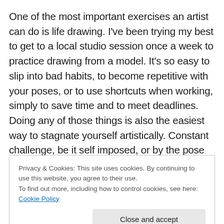One of the most important exercises an artist can do is life drawing. I've been trying my best to get to a local studio session once a week to practice drawing from a model. It's so easy to slip into bad habits, to become repetitive with your poses, or to use shortcuts when working, simply to save time and to meet deadlines. Doing any of those things is also the easiest way to stagnate yourself artistically. Constant challenge, be it self imposed, or by the pose before you, keeps you fresh and alert. For me, the challenges are more self imposed, as I'm trying to get a better understanding of how shadows form. Not so much
Privacy & Cookies: This site uses cookies. By continuing to use this website, you agree to their use.
To find out more, including how to control cookies, see here: Cookie Policy
alter their shape. (whoan, deeeeeep) Within all that there's